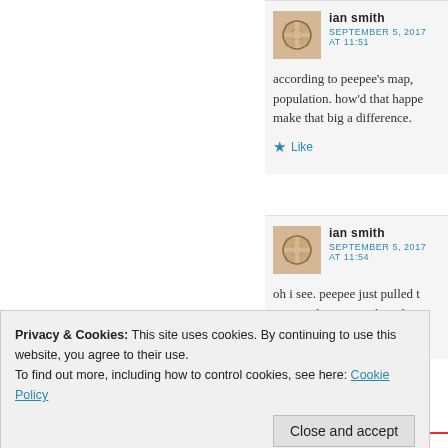ian smith
SEPTEMBER 5, 2017 AT 11:51
according to peepee's map, population. how'd that happe make that big a difference.
Like
ian smith
SEPTEMBER 5, 2017 AT 11:54
oh i see. peepee just pulled t expected IQ scores based or
Privacy & Cookies: This site uses cookies. By continuing to use this website, you agree to their use.
To find out more, including how to control cookies, see here: Cookie Policy
Close and accept